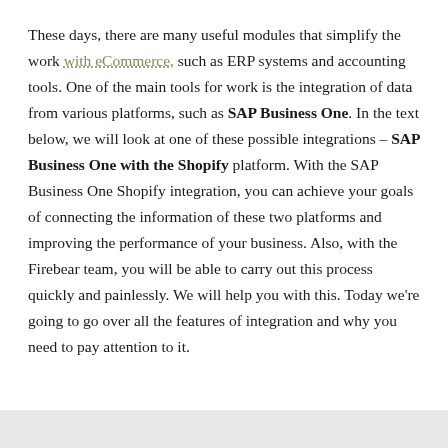These days, there are many useful modules that simplify the work with eCommerce, such as ERP systems and accounting tools. One of the main tools for work is the integration of data from various platforms, such as SAP Business One. In the text below, we will look at one of these possible integrations – SAP Business One with the Shopify platform. With the SAP Business One Shopify integration, you can achieve your goals of connecting the information of these two platforms and improving the performance of your business. Also, with the Firebear team, you will be able to carry out this process quickly and painlessly. We will help you with this. Today we're going to go over all the features of integration and why you need to pay attention to it.